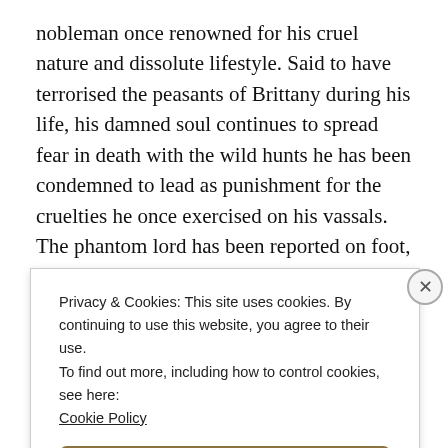nobleman once renowned for his cruel nature and dissolute lifestyle. Said to have terrorised the peasants of Brittany during his life, his damned soul continues to spread fear in death with the wild hunts he has been condemned to lead as punishment for the cruelties he once exercised on his vassals. The phantom lord has been reported on foot, on horseback and even riding a carriage driving on his baying hounds and even passing them like lightning. Sometimes, only the cry of his voice
Privacy & Cookies: This site uses cookies. By continuing to use this website, you agree to their use.
To find out more, including how to control cookies, see here:
Cookie Policy
Close and accept